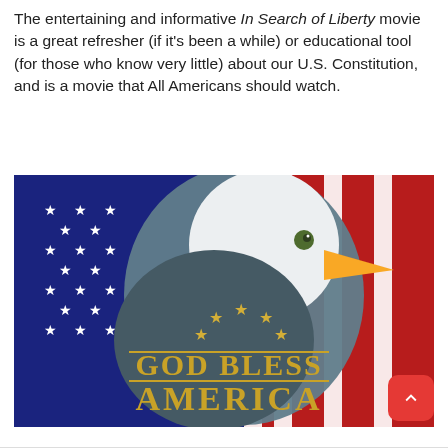The entertaining and informative In Search of Liberty movie is a great refresher (if it's been a while) or educational tool (for those who know very little) about our U.S. Constitution, and is a movie that All Americans should watch.
[Figure (photo): A bald eagle centered against an American flag background with 'GOD BLESS AMERICA' text in gold, surrounded by gold stars]